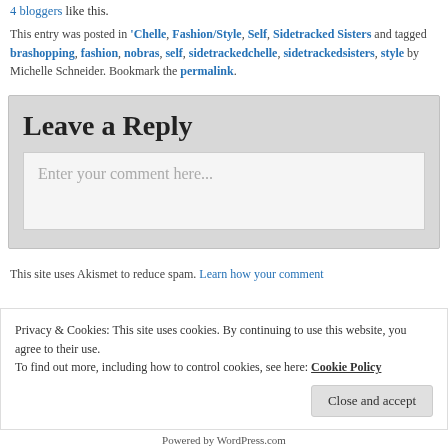4 bloggers like this.
This entry was posted in 'Chelle, Fashion/Style, Self, Sidetracked Sisters and tagged brashopping, fashion, nobras, self, sidetrackedchelle, sidetrackedsisters, style by Michelle Schneider. Bookmark the permalink.
Leave a Reply
Enter your comment here...
This site uses Akismet to reduce spam. Learn how your comment
Privacy & Cookies: This site uses cookies. By continuing to use this website, you agree to their use.
To find out more, including how to control cookies, see here: Cookie Policy
Close and accept
Powered by WordPress.com